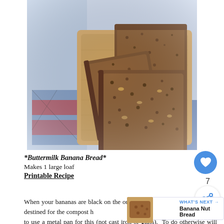[Figure (photo): Three slices of banana nut bread on a wooden cutting board, with a colorful patterned tablecloth visible underneath.]
*Buttermilk Banana Bread*
Makes 1 large loaf
Printable Recipe
When your bananas are black on the outside, like they are destined for the compost heap, they are perfect for banana bread. Be sure to use a metal pan for this (not cast iron or glass). To do otherwise will result in a